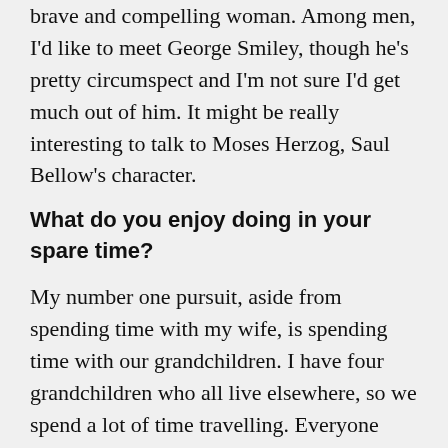brave and compelling woman. Among men, I'd like to meet George Smiley, though he's pretty circumspect and I'm not sure I'd get much out of him. It might be really interesting to talk to Moses Herzog, Saul Bellow's character.
What do you enjoy doing in your spare time?
My number one pursuit, aside from spending time with my wife, is spending time with our grandchildren. I have four grandchildren who all live elsewhere, so we spend a lot of time travelling. Everyone says the same thing about being a grandparent—it's the one thing in life that lives up to its advanced billing. It's very fulfilling.
I also play golf when I can.
Will you complete this sentence: Writing novels has taught me___________?